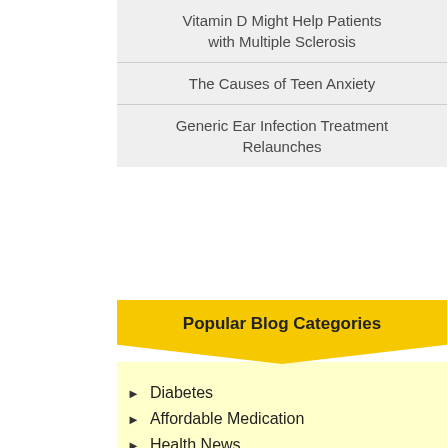Vitamin D Might Help Patients with Multiple Sclerosis
The Causes of Teen Anxiety
Generic Ear Infection Treatment Relaunches
Popular Blog Categories
Diabetes
Affordable Medication
Health News
Birth Control
Pet Medicine